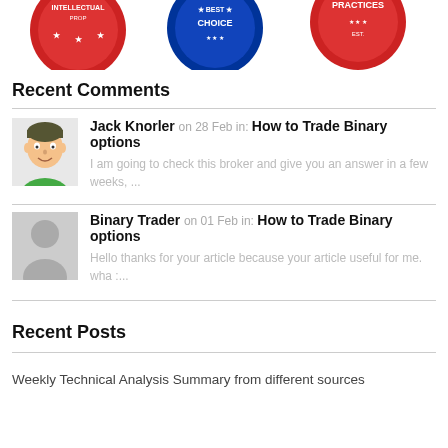[Figure (illustration): Three circular badge/seal icons partially visible at the top: a red 'Intellectual Property' badge, a blue 'Best Choice' badge, and a red 'Practices' badge]
Recent Comments
Jack Knorler on 28 Feb  in: How to Trade Binary options
I am going to check this broker and give you an answer in a few weeks, ...
Binary Trader on 01 Feb  in: How to Trade Binary options
Hello thanks for your article because your article useful for me. wha :...
Recent Posts
Weekly Technical Analysis Summary from different sources